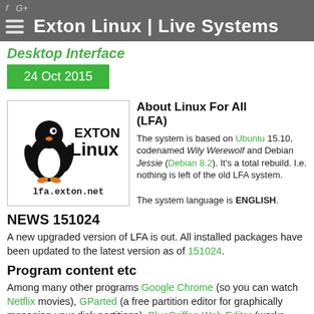f G+  Exton Linux | Live Systems
Desktop Interface
24 Oct 2015
[Figure (logo): Exton Linux logo with penguin mascot and lfa.exton.net URL]
About Linux For All (LFA)
The system is based on Ubuntu 15.10, codenamed Wily Werewolf and Debian Jessie (Debian 8.2). It's a total rebuild. I.e. nothing is left of the old LFA system. The system language is ENGLISH.
NEWS 151024
A new upgraded version of LFA is out. All installed packages have been updated to the latest version as of 151024.
Program content etc
Among many other programs Google Chrome (so you can watch Netflix movies), GParted (a free partition editor for graphically managing your disk partitions), BlueGriffon Web Editor (works almost like Dreamweaver), Synaptic Package Manager, SMPlayer free media player with built-in codecs that can play virtually all